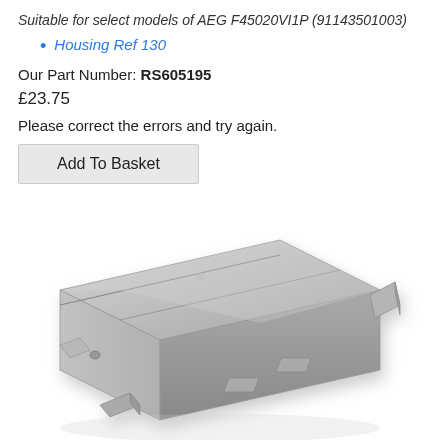Suitable for select models of AEG F45020VI1P (91143501003)
Housing Ref 130
Our Part Number: RS605195
£23.75
Please correct the errors and try again.
Add To Basket
[Figure (photo): Grey plastic dishwasher detergent dispenser housing component, photographed at an angle showing its rectangular form with latch and hinge mechanisms.]